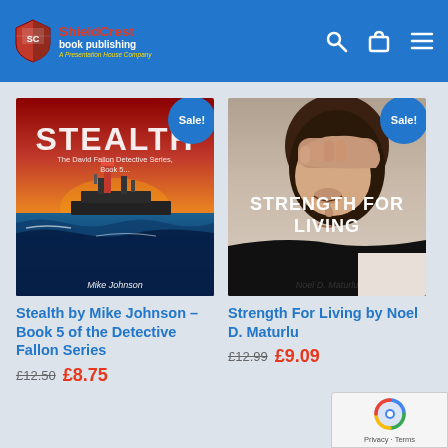[Figure (logo): ShieldCrest Book Publishing logo with shield emblem, red main text, white subtitle, golden italic tagline 'A Presenter House Company']
[Figure (screenshot): Navigation icons: search magnifier, shopping bag, hamburger menu — white on blue header]
[Figure (photo): Book cover: STEALTH by Mike Johnson, The David Fallon Detective Series Book 5, showing naval ship in stormy orange/blue sea. Blue 'Sale!' badge top right.]
[Figure (photo): Book cover: STRENGTH FOR LIVING by Noel D. Maturlu, showing a woman with hand on forehead looking distressed, black and white tones. Blue 'Sale!' badge top right.]
Stealth by Mike Johnson – Book 5 of the Detective Fallon Series
£12.50  £8.75
Strength For Living by Noel D. Maturlu
£12.99  £9.09
[Figure (other): Google reCAPTCHA widget bottom right corner showing reCAPTCHA logo and Privacy · Terms links]